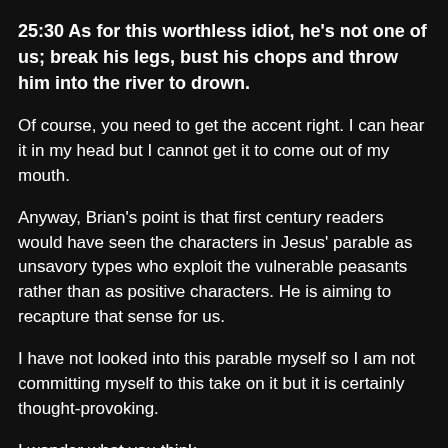25:30 As for this worthless idiot, he's not one of us; break his legs, bust his chops and throw him into the river to drown.
Of course, you need to get the accent right. I can hear it in my head but I cannot get it to come out of my mouth.
Anyway, Brian's point is that first century readers would have seen the characters in Jesus' parable as unsavory types who exploit the vulnerable peasants rather than as positive characters. He is aiming to recapture that sense for us.
I have not looked into this parable myself so I am not committing myself to this take on it but it is certainly thought-provoking.
I wonder what you think.